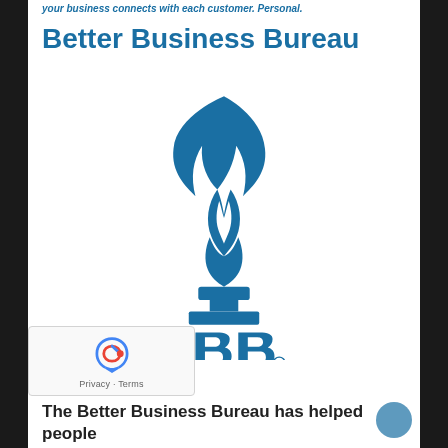your business connects with each customer. Personal.
Better Business Bureau
[Figure (logo): Better Business Bureau (BBB) logo — a blue torch flame shape above a base pedestal with the stylized letters BBB and a registered trademark symbol]
The Better Business Bureau has helped people